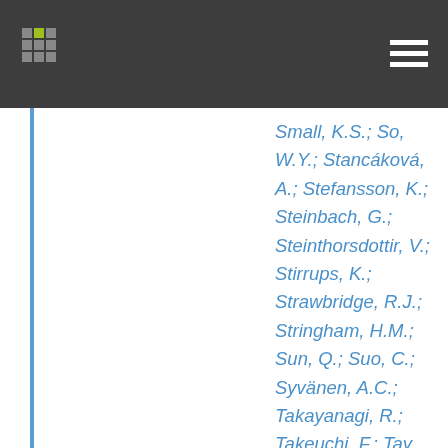Small, K.S.; So, W.Y.; Stancáková, A.; Stefansson, K.; Steinbach, G.; Steinthorsdottir, V.; Stirrups, K.; Strawbridge, R.J.; Stringham, H.M.; Sun, Q.; Suo, C.; Syvänen, A.C.; Takayanagi, R.; Takeuchi, F.; Tay, W.T.; Teslovich, T.M.; Thorand, B.; Thorleifsson, G.; Thorsteinsdottir, U.; Tikkanen, E.; Trakalo, J.; Tremoli, E.; Trip, M.D.; Tsai, F.J.; Tuomi, T.; Tuomilehto, J.; Uitterlinden, A.G.;